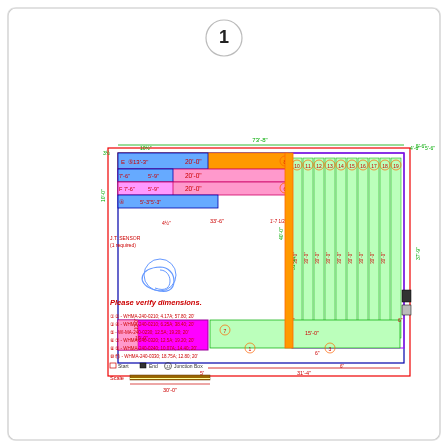[Figure (engineering-diagram): Floor plan / layout diagram showing a large rectangular area with numbered zones (10-19) arranged in vertical strips, heating cable routes, junction boxes, dimensions in feet and inches, legend with WHMA cable specifications, scale bar, and sensor notation. Page number '1' in circle at top center.]